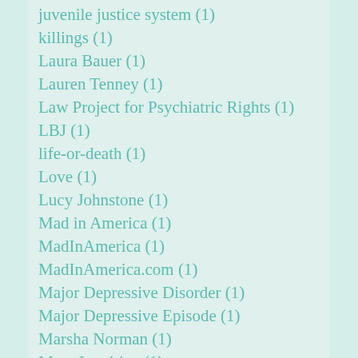juvenile justice system (1)
killings (1)
Laura Bauer (1)
Lauren Tenney (1)
Law Project for Psychiatric Rights (1)
LBJ (1)
life-or-death (1)
Love (1)
Lucy Johnstone (1)
Mad in America (1)
MadInAmerica (1)
MadInAmerica.com (1)
Major Depressive Disorder (1)
Major Depressive Episode (1)
Marsha Norman (1)
Mary Landrieu (1)
mary vieten (1)
Meadow Linder (1)